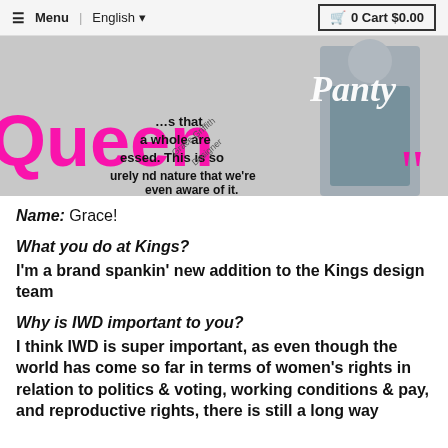≡ Menu | English ▾   🛒 0 Cart $0.00
[Figure (photo): Promotional image with a woman in a patterned dress holding a bag, overlaid with bold magenta text reading 'Queen' and a script 'Panty', quote text about oppression and nature, and attribution to Grace Griffith, Designer.]
Name: Grace!
What you do at Kings?
I'm a brand spankin' new addition to the Kings design team
Why is IWD important to you?
I think IWD is super important, as even though the world has come so far in terms of women's rights in relation to politics & voting, working conditions & pay, and reproductive rights, there is still a long way